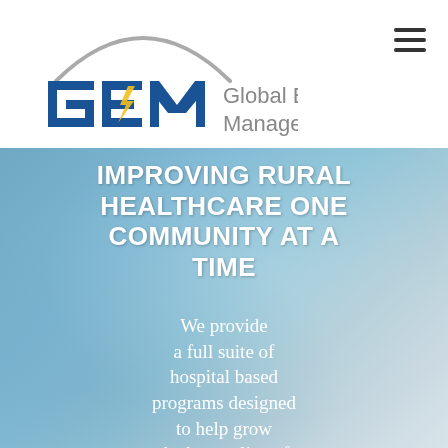[Figure (logo): GEM - Global Enterprise Management logo with arc graphic and bolt symbol]
IMPROVING RURAL HEALTHCARE ONE COMMUNITY AT A TIME
We provide a full suite of hospital based programs designed to help grow the bottomline of healthcare facilities and save money by